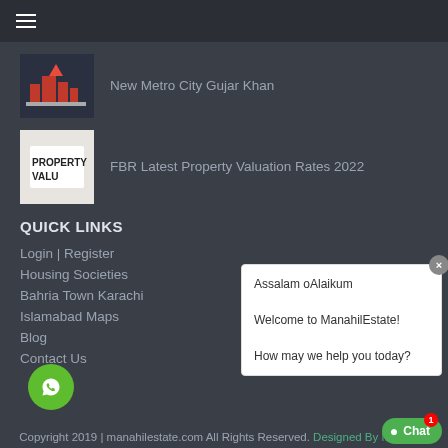[Figure (photo): Thumbnail image for New Metro City Gujar Khan article]
New Metro City Gujar Khan
[Figure (photo): Thumbnail image for FBR Latest Property Valuation Rates 2022 article with text PROPERTY VALUATION]
FBR Latest Property Valuation Rates 2022
QUICK LINKS
Login | Register
Housing Societies
Bahria Town Karachi
Islamabad Maps
Blog
Contact Us
Copyright 2019 | manahilestate.com All Rights Reserved. Designed By Microarts